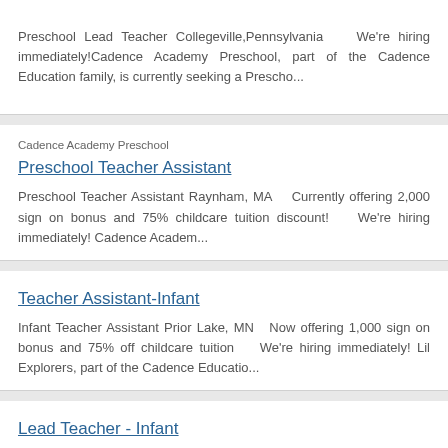Preschool Lead Teacher Collegeville, Pennsylvania   We're hiring immediately!Cadence Academy Preschool, part of the Cadence Education family, is currently seeking a Prescho...
Cadence Academy Preschool
Preschool Teacher Assistant
Preschool Teacher Assistant Raynham, MA    Currently offering 2,000 sign on bonus and 75% childcare tuition discount!    We're hiring immediately! Cadence Academ...
Teacher Assistant-Infant
Infant Teacher Assistant Prior Lake, MN   Now offering 1,000 sign on bonus and 75% off childcare tuition   We're hiring immediately! Lil Explorers, part of the Cadence Educatio...
Lead Teacher - Infant
Infant Lead Teacher Prior Lake, MN   Currently offering 1,000...